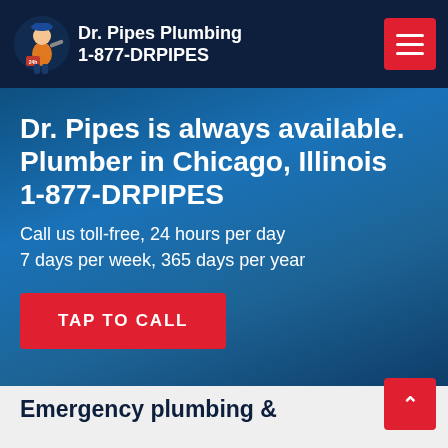Dr. Pipes Plumbing 1-877-DRPIPES
Dr. Pipes is always available. Plumber in Chicago, Illinois 1-877-DRPIPES
Call us toll-free, 24 hours per day
7 days per week, 365 days per year
TAP TO CALL
Emergency plumbing &